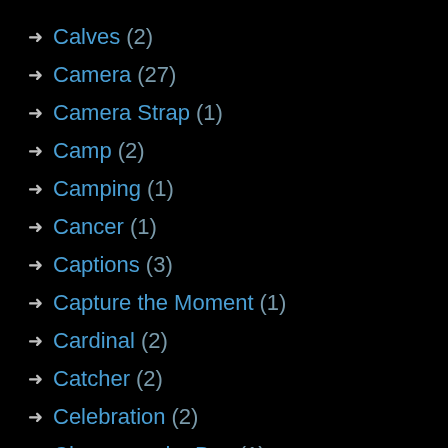Calves (2)
Camera (27)
Camera Strap (1)
Camp (2)
Camping (1)
Cancer (1)
Captions (3)
Capture the Moment (1)
Cardinal (2)
Catcher (2)
Celebration (2)
Cheasapeake Bay (1)
Checklist (3)